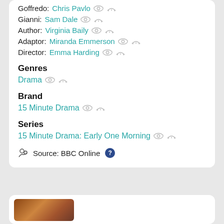Goffredo: Chris Pavlo
Gianni: Sam Dale
Author: Virginia Baily
Adaptor: Miranda Emmerson
Director: Emma Harding
Genres
Drama
Brand
15 Minute Drama
Series
15 Minute Drama: Early One Morning
Source: BBC Online